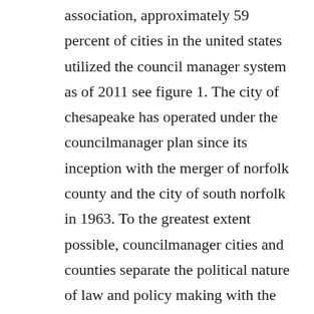association, approximately 59 percent of cities in the united states utilized the council manager system as of 2011 see figure 1. The city of chesapeake has operated under the councilmanager plan since its inception with the merger of norfolk county and the city of south norfolk in 1963. To the greatest extent possible, councilmanager cities and counties separate the political nature of law and policy making with the apolitical nature of implementation.
Originally, the council was composed of nine